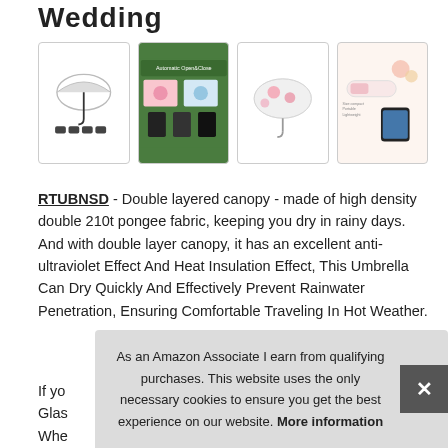Wedding
[Figure (photo): Four product images of floral umbrellas shown in a row]
RTUBNSD - Double layered canopy - made of high density double 210t pongee fabric, keeping you dry in rainy days. And with double layer canopy, it has an excellent anti-ultraviolet Effect And Heat Insulation Effect, This Umbrella Can Dry Quickly And Effectively Prevent Rainwater Penetration, Ensuring Comfortable Traveling In Hot Weather.
If yo
Glas
Whe
As an Amazon Associate I earn from qualifying purchases. This website uses the only necessary cookies to ensure you get the best experience on our website. More information